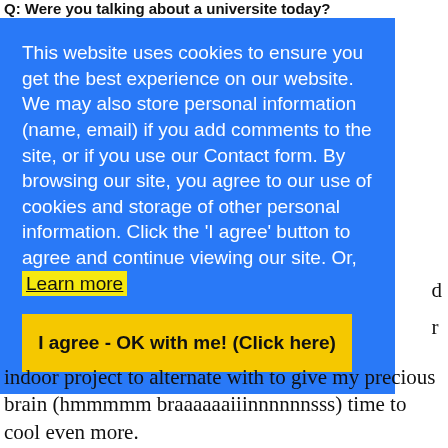Q: Were you talking about a universite today?
This website uses cookies to ensure you get the best experience on our website. We may also store personal information (name, email) if you add comments to the site, or if you use our Contact form. By browsing our site, you agree to our use of cookies and storage of other personal information. Click the 'I agree' button to agree and continue viewing our site. Or, Learn more
I agree - OK with me! (Click here)
indoor project to alternate with to give my precious brain (hmmmmm braaaaaaiiinnnnnnsss) time to cool even more.